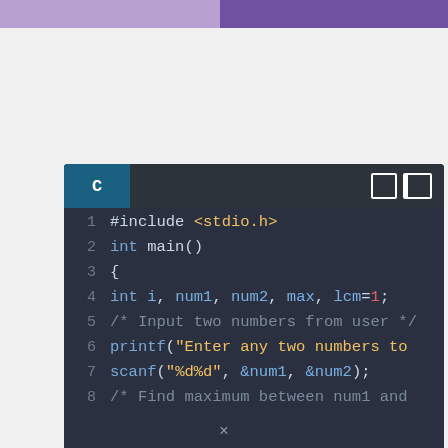[Figure (screenshot): Code editor screenshot showing C language tab with lines 1-8 of a C program. Line 1: #include <stdio.h>, Line 2: int main(), Line 3: {, Line 4: int i, num1, num2, max, lcm=1;, Line 5: /* Input two numbers from user */, Line 6: printf("Enter any two numbers to, Line 7: scanf("%d%d", &num1, &num2);, Line 8: /* Find maximum between num1 and]